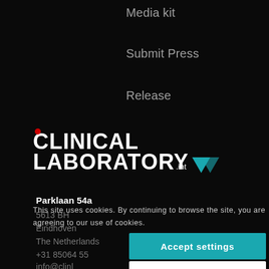Media kit
Submit Press
Release
[Figure (logo): Clinical Laboratory International logo — white bold text with a red dot above the C and a teal triangle accent]
Parklaan 54a
5613 BH
Eindhoven
The Netherlands
+31 85064 55
info@clinl
This site uses cookies. By continuing to browse the site, you are agreeing to our use of cookies.
Accept settings
Hide notification only
Cookie settings
PanGlobal Media is not responsible for any error or omission that might occur in the electronic display of product or